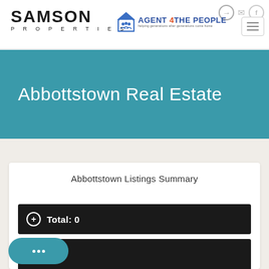[Figure (logo): Samson Properties logo with large bold SAMSON text and PROPERTIES in spaced caps below]
[Figure (logo): Agent 4 The People logo with house icon and blue/orange text]
Abbottstown Real Estate
Abbottstown Listings Summary
Total: 0